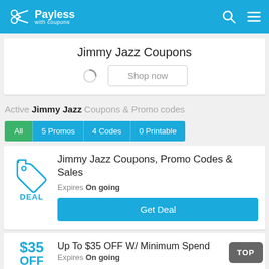Payless with coupons
Jimmy Jazz Coupons
Shop now
Active Jimmy Jazz Coupons & Promo codes
All
5 Promos
4 Codes
0 Printable
Jimmy Jazz Coupons, Promo Codes & Sales
Expires On going
Get Deal
Up To $35 OFF W/ Minimum Spend
Expires On going